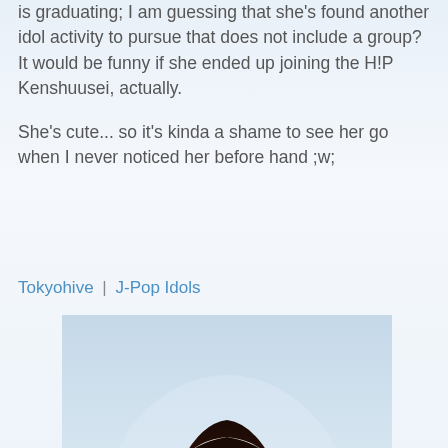is graduating; I am guessing that she's found another idol activity to pursue that does not include a group? It would be funny if she ended up joining the H!P Kenshuusei, actually.
She's cute... so it's kinda a shame to see her go when I never noticed her before hand ;w;
Tokyohive | J-Pop Idols
[Figure (photo): A young Japanese woman with long dark straight hair and bangs, smiling, wearing a school uniform with a white vest, light blue collared shirt, and plaid bow tie, photographed against a light blue background.]